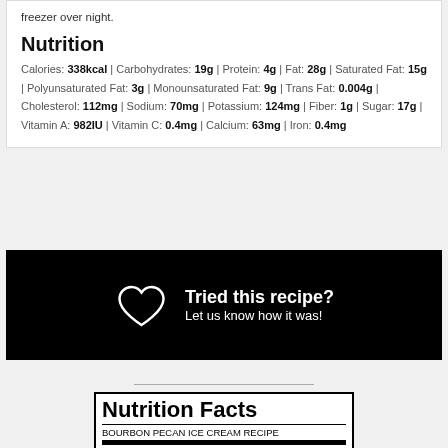freezer over night.
Nutrition
Calories: 338kcal | Carbohydrates: 19g | Protein: 4g | Fat: 28g | Saturated Fat: 15g | Polyunsaturated Fat: 3g | Monounsaturated Fat: 9g | Trans Fat: 0.004g | Cholesterol: 112mg | Sodium: 70mg | Potassium: 124mg | Fiber: 1g | Sugar: 17g | Vitamin A: 982IU | Vitamin C: 0.4mg | Calcium: 63mg | Iron: 0.4mg
[Figure (infographic): Black banner with heart icon and text: Tried this recipe? Let us know how it was!]
[Figure (infographic): Nutrition Facts label for Bourbon Pecan Ice Cream Recipe. Amount per Serving. Calories 338. % Daily Value*.]